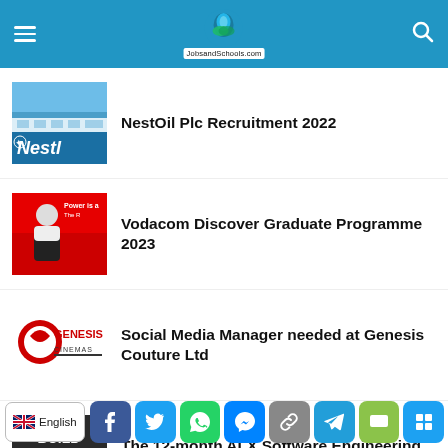JobsandSchools.com
NestOil Plc Recruitment 2022
Vodacom Discover Graduate Programme 2023
Social Media Manager needed at Genesis Couture Ltd
The 12-month ALX Software Engineering Programme 2023 (Fully Funded)